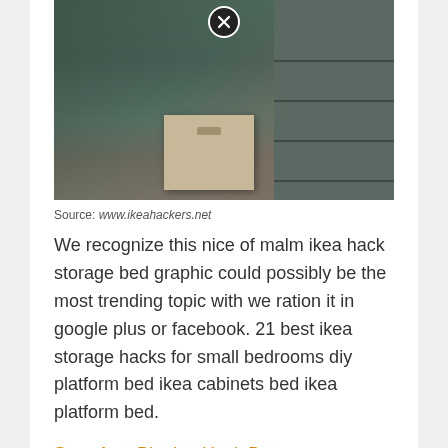[Figure (photo): Photo of a bedroom dresser/chest of drawers in dark green-grey color with an open drawer pulled out at the bottom, showing a light-colored drawer insert with a handle slot. A bed with pillows is visible behind the dresser.]
Source: www.ikeahackers.net
We recognize this nice of malm ikea hack storage bed graphic could possibly be the most trending topic with we ration it in google plus or facebook. 21 best ikea storage hacks for small bedrooms diy platform bed ikea cabinets bed ikea platform bed.
See also  Blooket Hack Bot Unblocked